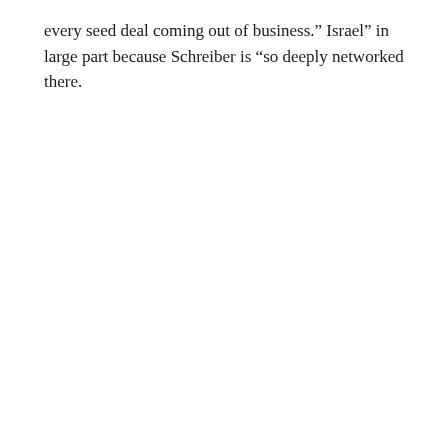every seed deal coming out of business.” Israel” in large part because Schreiber is “so deeply networked there.